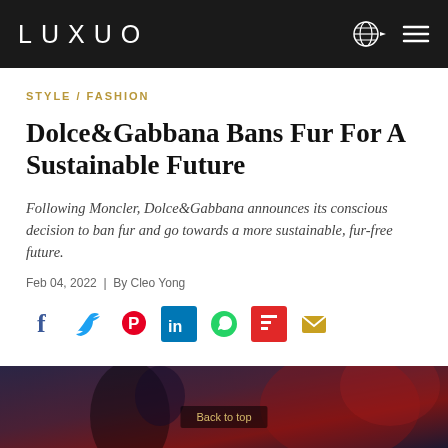LUXUO
STYLE / FASHION
Dolce&Gabbana Bans Fur For A Sustainable Future
Following Moncler, Dolce&Gabbana announces its conscious decision to ban fur and go towards a more sustainable, fur-free future.
Feb 04, 2022 | By Cleo Yong
[Figure (other): Social media share icons: Facebook, Twitter, Pinterest, LinkedIn, WhatsApp, Flipboard, Email]
[Figure (photo): Dark photograph of a fashion show model, partially visible at bottom of page]
Back to top